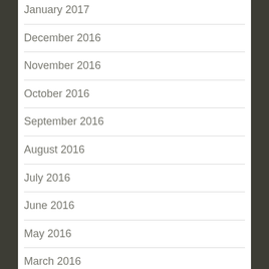January 2017
December 2016
November 2016
October 2016
September 2016
August 2016
July 2016
June 2016
May 2016
March 2016
February 2016